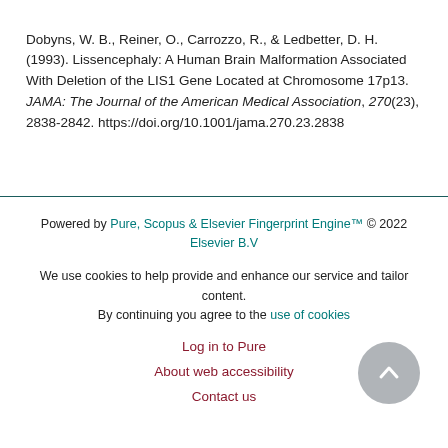Dobyns, W. B., Reiner, O., Carrozzo, R., & Ledbetter, D. H. (1993). Lissencephaly: A Human Brain Malformation Associated With Deletion of the LIS1 Gene Located at Chromosome 17p13. JAMA: The Journal of the American Medical Association, 270(23), 2838-2842. https://doi.org/10.1001/jama.270.23.2838
Powered by Pure, Scopus & Elsevier Fingerprint Engine™ © 2022 Elsevier B.V
We use cookies to help provide and enhance our service and tailor content. By continuing you agree to the use of cookies
Log in to Pure
About web accessibility
Contact us